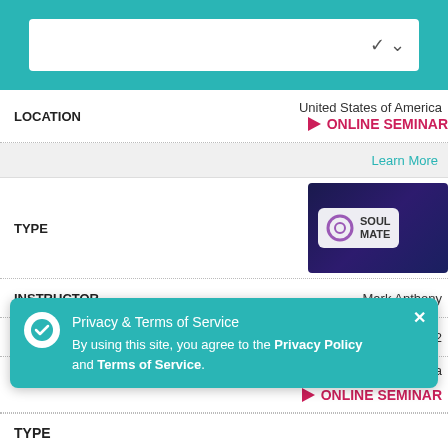[Figure (screenshot): Top teal navigation bar with a white dropdown selector box showing a chevron arrow]
LOCATION
United States of America
ONLINE SEMINAR
Learn More
TYPE
[Figure (logo): Soul Mate logo card with circular icon and text on dark blue background]
INSTRUCTOR
Mark Anthony
DATES
August 27 - 28, 2022
LOCATION
Australia
ONLINE SEMINAR
Privacy & Terms of Service
By using this site, you agree to the Privacy Policy and Terms of Service.
TYPE